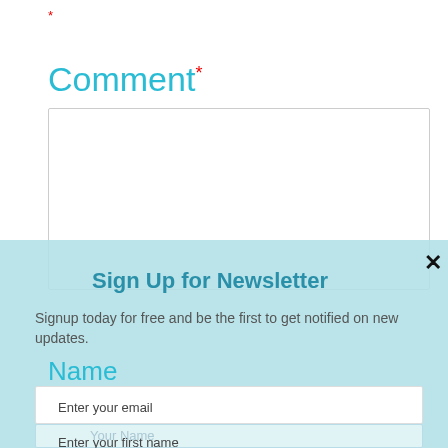*
Comment*
[Figure (screenshot): Empty comment text area input box with light gray border]
[Figure (screenshot): Newsletter signup popup overlay with light blue background, close X button, title 'Sign Up for Newsletter', body text, Name label, email input field, Your Name placeholder field, and Enter your first name field]
Sign Up for Newsletter
Signup today for free and be the first to get notified on new updates.
Name
Enter your email
Your Name
Enter your first name